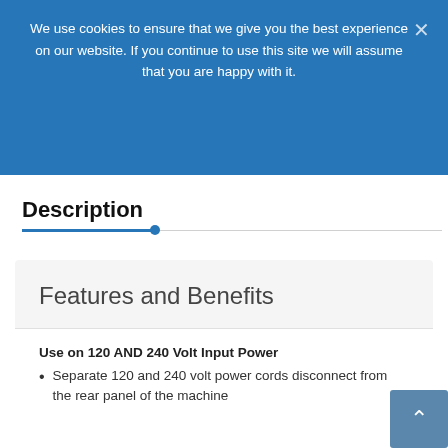We use cookies to ensure that we give you the best experience on our website. If you continue to use this site we will assume that you are happy with it.
Description
Features and Benefits
Use on 120 AND 240 Volt Input Power
Separate 120 and 240 volt power cords disconnect from the rear panel of the machine